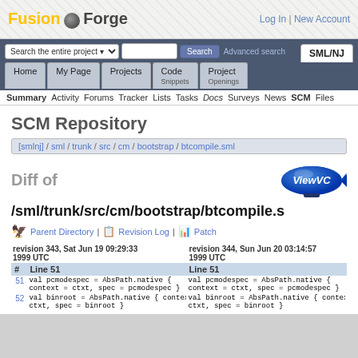Fusion Forge | Log In | New Account
[Figure (screenshot): FusionForge navigation bar with search and tabs including Home, My Page, Projects, Code, Project, SML/NJ]
Summary Activity Forums Tracker Lists Tasks Docs Surveys News SCM Files
SCM Repository
[smlnj] / sml / trunk / src / cm / bootstrap / btcompile.sml
Diff of
/sml/trunk/src/cm/bootstrap/btcompile.s
Parent Directory | Revision Log | Patch
| # | Line 51 (revision 343, Sat Jun 19 09:29:33 1999 UTC) | Line 51 (revision 344, Sun Jun 20 03:14:57 1999 UTC) |
| --- | --- | --- |
| 51 | val pcmodespec = AbsPath.native { context = ctxt, spec = pcmodespec } | val pcmodespec = AbsPath.native { context = ctxt, spec = pcmodespec } |
| 52 | val binroot = AbsPath.native { context = ctxt, spec = binroot } | val binroot = AbsPath.native { context = ctxt, spec = binroot } |